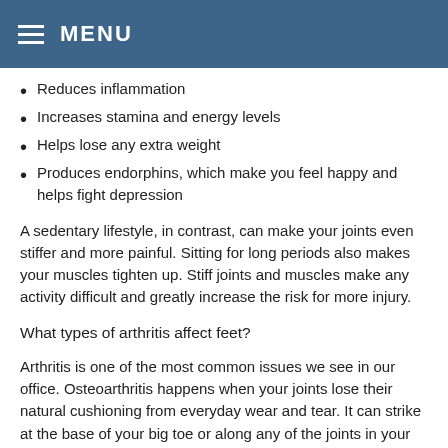MENU
Reduces inflammation
Increases stamina and energy levels
Helps lose any extra weight
Produces endorphins, which make you feel happy and helps fight depression
A sedentary lifestyle, in contrast, can make your joints even stiffer and more painful. Sitting for long periods also makes your muscles tighten up. Stiff joints and muscles make any activity difficult and greatly increase the risk for more injury.
What types of arthritis affect feet?
Arthritis is one of the most common issues we see in our office. Osteoarthritis happens when your joints lose their natural cushioning from everyday wear and tear. It can strike at the base of your big toe or along any of the joints in your ankle. Rheumatoid arthritis is an autoimmune disease that causes chronic inflammation that can affect